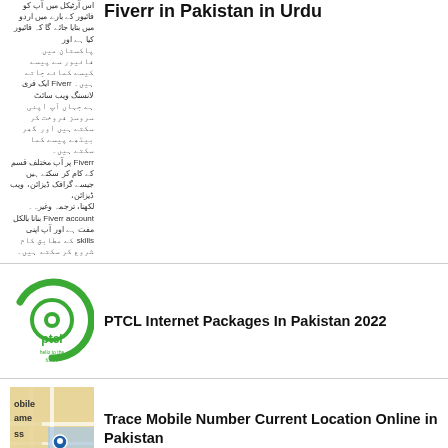Fiverr in Pakistan in Urdu
[Figure (illustration): Urdu text block thumbnail for Fiverr in Pakistan in Urdu article]
PTCL Internet Packages In Pakistan 2022
[Figure (logo): PTCL logo with green circle and eye icon, text 'hello to the future']
Trace Mobile Number Current Location Online in Pakistan
[Figure (screenshot): Mobile number location map screenshot with yellow and blue map tiles]
Zong Balance Check Code 2022 Balance Inquiry
[Figure (logo): Zong logo showing 'ng' in green and 'ANCE' in pink on white background]